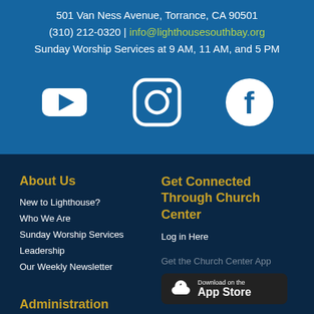501 Van Ness Avenue, Torrance, CA 90501
(310) 212-0320 | info@lighthousesouthbay.org
Sunday Worship Services at 9 AM, 11 AM, and 5 PM
[Figure (logo): YouTube, Instagram, and Facebook social media icons in white on blue background]
About Us
New to Lighthouse?
Who We Are
Sunday Worship Services
Leadership
Our Weekly Newsletter
Administration
Get Connected Through Church Center
Log in Here
Get the Church Center App
[Figure (screenshot): Download on the App Store button]